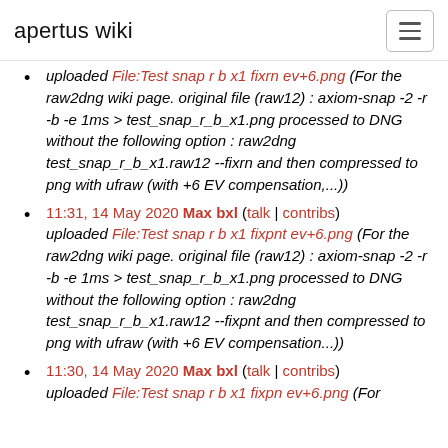apertus wiki
uploaded File:Test snap r b x1 fixrn ev+6.png (For the raw2dng wiki page. original file (raw12) : axiom-snap -2 -r -b -e 1ms > test_snap_r_b_x1.png processed to DNG without the following option : raw2dng test_snap_r_b_x1.raw12 --fixrn and then compressed to png with ufraw (with +6 EV compensation,...))
11:31, 14 May 2020 Max bxl (talk | contribs) uploaded File:Test snap r b x1 fixpnt ev+6.png (For the raw2dng wiki page. original file (raw12) : axiom-snap -2 -r -b -e 1ms > test_snap_r_b_x1.png processed to DNG without the following option : raw2dng test_snap_r_b_x1.raw12 --fixpnt and then compressed to png with ufraw (with +6 EV compensation...))
11:30, 14 May 2020 Max bxl (talk | contribs) uploaded File:Test snap r b x1 fixpn ev+6.png (For